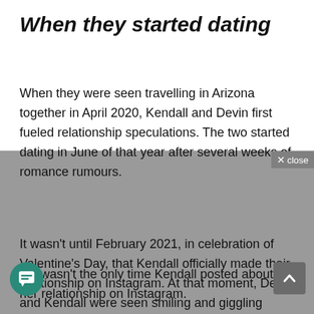When they started dating
When they were seen travelling in Arizona together in April 2020, Kendall and Devin first fueled relationship speculations. The two started dating in June of that year after several weeks of romance rumours.
It wasn't until February 2021, in celebration of Valentine's Day, that Kendall officially made their relationship on Instagram. At that moment, Devin and Kendall were seen smiling and giggling while resting on a kitchen counter.
1
hat wasn't the only time Kendall posted about her relationship on Instagram.